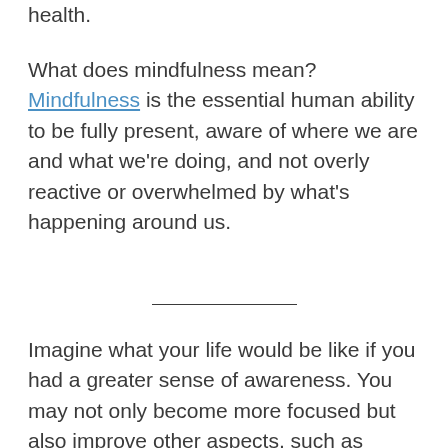health.
What does mindfulness mean? Mindfulness is the essential human ability to be fully present, aware of where we are and what we're doing, and not overly reactive or overwhelmed by what's happening around us.
Imagine what your life would be like if you had a greater sense of awareness. You may not only become more focused but also improve other aspects, such as school attendance and grades, thanks to the wonders that come from practicing mindful habits early on in life!